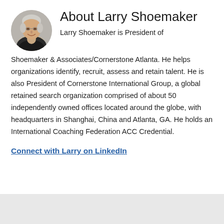[Figure (photo): Headshot photo of Larry Shoemaker, a smiling older man with gray/white hair]
About Larry Shoemaker
Larry Shoemaker is President of Shoemaker & Associates/Cornerstone Atlanta. He helps organizations identify, recruit, assess and retain talent. He is also President of Cornerstone International Group, a global retained search organization comprised of about 50 independently owned offices located around the globe, with headquarters in Shanghai, China and Atlanta, GA. He holds an International Coaching Federation ACC Credential.
Connect with Larry on LinkedIn